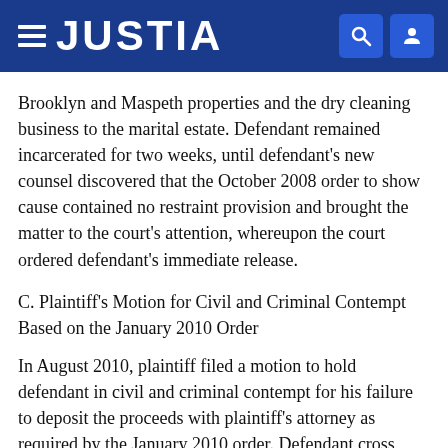JUSTIA
Brooklyn and Maspeth properties and the dry cleaning business to the marital estate. Defendant remained incarcerated for two weeks, until defendant's new counsel discovered that the October 2008 order to show cause contained no restraint provision and brought the matter to the court's attention, whereupon the court ordered defendant's immediate release.
C. Plaintiff's Motion for Civil and Criminal Contempt Based on the January 2010 Order
In August 2010, plaintiff filed a motion to hold defendant in civil and criminal contempt for his failure to deposit the proceeds with plaintiff's attorney as required by the January 2010 order. Defendant cross moved to vacate that order, arguing that it was void because it was obtained by plaintiff's fraud upon the court, namely her misrepresentations that the October 2008 order